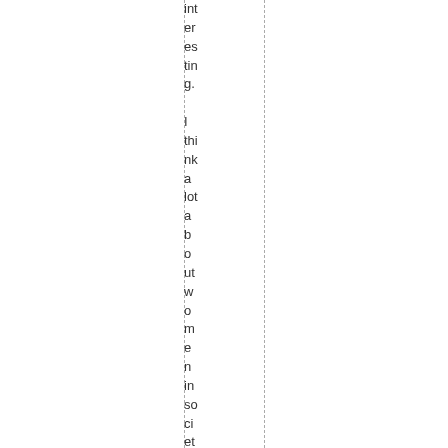interesting. I think a lot about women in society and ho